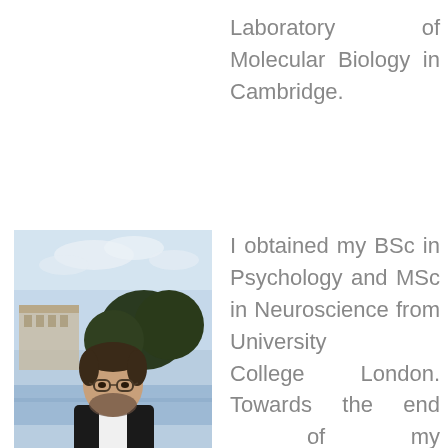Laboratory of Molecular Biology in Cambridge.
[Figure (photo): Portrait photo of a young man with glasses and a beard wearing a black tuxedo with bow tie, standing outdoors near a river with trees and a historic building in the background.]
Jonathan Wilson
I obtained my BSc in Psychology and MSc in Neuroscience from University College London. Towards the end of my undergraduate training I became interested in the way